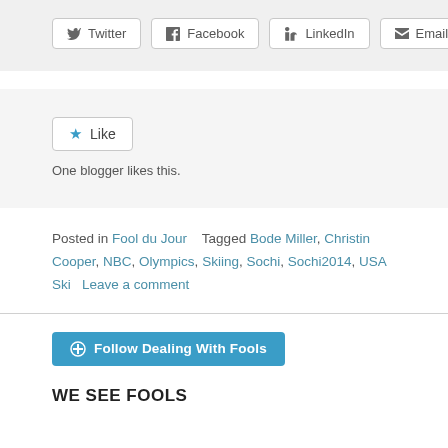[Figure (other): Social share buttons: Twitter, Facebook, LinkedIn, Email]
[Figure (other): Like button widget with star icon and 'One blogger likes this.' text]
One blogger likes this.
Posted in Fool du Jour   Tagged Bode Miller, Christin Cooper, NBC, Olympics, Skiing, Sochi, Sochi2014, USA Ski   Leave a comment
[Figure (other): Follow Dealing With Fools button with WordPress logo]
WE SEE FOOLS